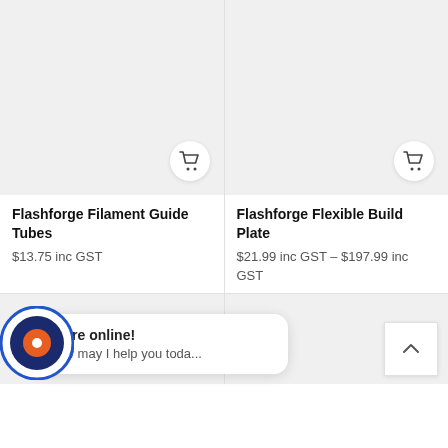[Figure (screenshot): Product image placeholder for Flashforge Filament Guide Tubes, grey background with shopping cart icon]
Flashforge Filament Guide Tubes
$13.75 inc GST
[Figure (screenshot): Product image placeholder for Flashforge Flexible Build Plate, grey background with shopping cart icon]
Flashforge Flexible Build Plate
$21.99 inc GST – $197.99 inc GST
[Figure (screenshot): Partial product card bottom row, grey background]
[Figure (screenshot): Chat widget: We're online! How may I help you toda...]